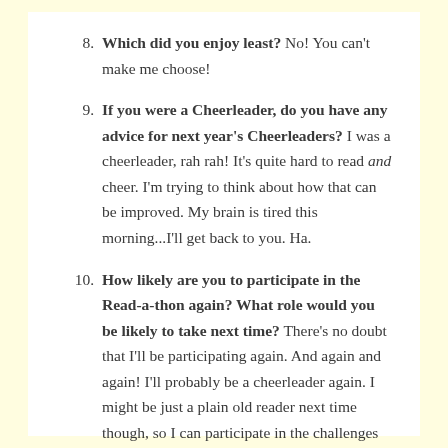8. Which did you enjoy least? No! You can't make me choose!
9. If you were a Cheerleader, do you have any advice for next year's Cheerleaders? I was a cheerleader, rah rah! It's quite hard to read and cheer. I'm trying to think about how that can be improved. My brain is tired this morning...I'll get back to you. Ha.
10. How likely are you to participate in the Read-a-thon again? What role would you be likely to take next time? There's no doubt that I'll be participating again. And again and again! I'll probably be a cheerleader again. I might be just a plain old reader next time though, so I can participate in the challenges throughout the day.